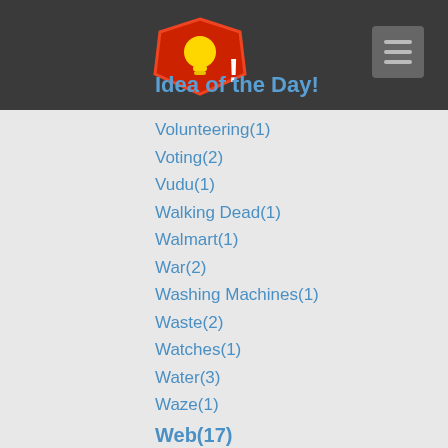Idea of the Day!
Volunteering(1)
Voting(2)
Vudu(1)
Walking Dead(1)
Walmart(1)
War(2)
Washing Machines(1)
Waste(2)
Watches(1)
Water(3)
Waze(1)
Web(17)
Web Design(2)
Website(4)
Websites(1)
WiFi(2)
WiFi Toilets(1)
Wii(1)
Windows(53)
Women(1)